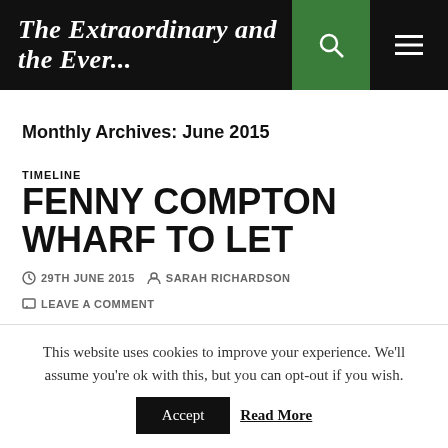The Extraordinary and the Ever...
Monthly Archives: June 2015
TIMELINE
FENNY COMPTON WHARF TO LET
29TH JUNE 2015  SARAH RICHARDSON  LEAVE A COMMENT
This website uses cookies to improve your experience. We'll assume you're ok with this, but you can opt-out if you wish.
Accept  Read More